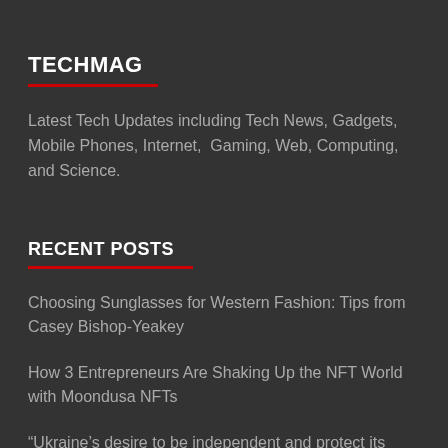TECHMAG
Latest Tech Updates including Tech News, Gadgets, Mobile Phones, Internet,  Gaming, Web, Computing, and Science.
RECENT POSTS
Choosing Sunglasses for Western Fashion: Tips from Casey Bishop-Yeakey
How 3 Entrepreneurs Are Shaking Up the NFT World with Moondusa NFTs
“Ukraine’s desire to be independent and protect its